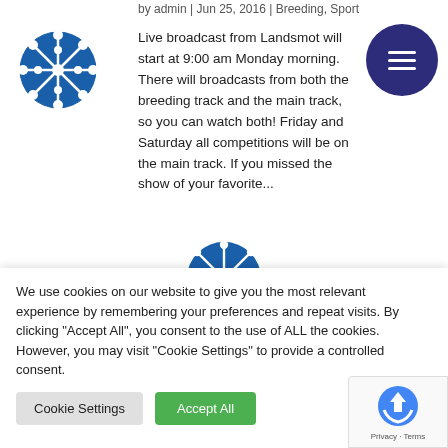by admin | Jun 25, 2016 | Breeding, Sport
[Figure (logo): Circular logo with white geometric/snowflake-like pattern on blue background]
[Figure (other): Dark navy circular hamburger menu button with three white horizontal lines]
Live broadcast from Landsmot will start at 9:00 am Monday morning. There will broadcasts from both the breeding track and the main track, so you can watch both! Friday and Saturday all competitions will be on the main track. If you missed the show of your favorite...
[Figure (logo): Partial view of blue circular logo at bottom of page content area]
We use cookies on our website to give you the most relevant experience by remembering your preferences and repeat visits. By clicking "Accept All", you consent to the use of ALL the cookies. However, you may visit "Cookie Settings" to provide a controlled consent.
Cookie Settings
Accept All